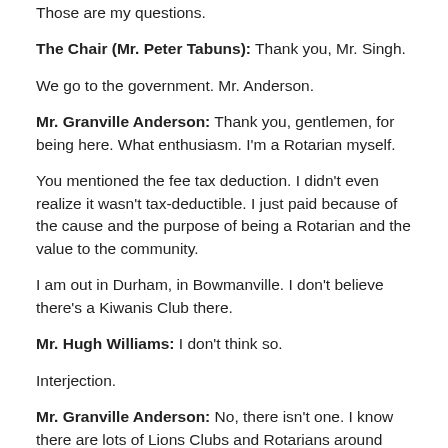Those are my questions.
The Chair (Mr. Peter Tabuns): Thank you, Mr. Singh.
We go to the government. Mr. Anderson.
Mr. Granville Anderson: Thank you, gentlemen, for being here. What enthusiasm. I'm a Rotarian myself.
You mentioned the fee tax deduction. I didn't even realize it wasn't tax-deductible. I just paid because of the cause and the purpose of being a Rotarian and the value to the community.
I am out in Durham, in Bowmanville. I don't believe there's a Kiwanis Club there.
Mr. Hugh Williams: I don't think so.
Interjection.
Mr. Granville Anderson: No, there isn't one. I know there are lots of Lions Clubs and Rotarians around because I go